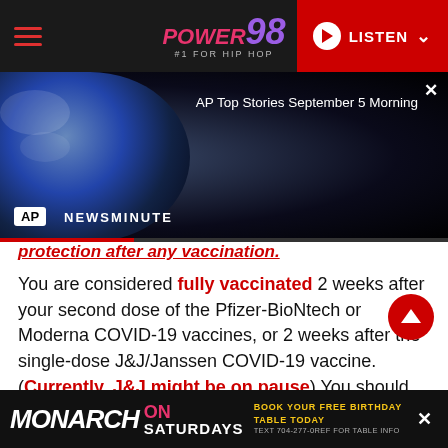POWER 98 #1 FOR HIP HOP | LISTEN
[Figure (screenshot): AP Newsminute video player showing Earth globe image with AP logo and NEWSMINUTE text. Title reads: AP Top Stories September 5 Morning]
protection after any vaccination.
You are considered fully vaccinated 2 weeks after your second dose of the Pfizer-BioNtech or Moderna COVID-19 vaccines, or 2 weeks after the single-dose J&J/Janssen COVID-19 vaccine. (Currently, J&J might be on pause) You should keep using all the tools available to
MONARCH ON SATURDAYS — BOOK YOUR FREE BIRTHDAY TABLE TODAY TEXT 704-277-0REF FOR TABLE INFO